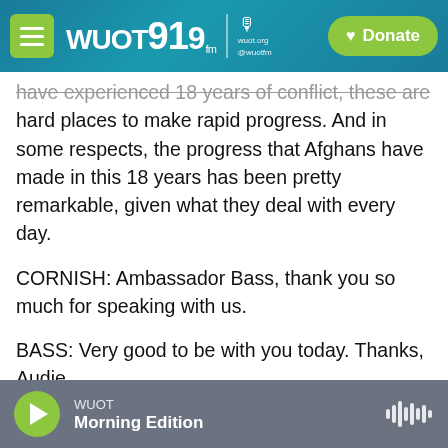WUOT 91.9 FM | wuot.org | @wuotfm | Donate
have experienced 18 years of conflict, these are hard places to make rapid progress. And in some respects, the progress that Afghans have made in this 18 years has been pretty remarkable, given what they deal with every day.
CORNISH: Ambassador Bass, thank you so much for speaking with us.
BASS: Very good to be with you today. Thanks, Audie.
CORNISH: That's John Bass. He left his post as U.S. ambassador to Afghanistan on Monday. He says
WUOT Morning Edition